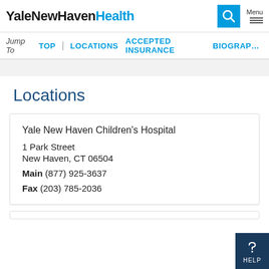YaleNewHavenHealth
Jump To  TOP  |  LOCATIONS  ACCEPTED INSURANCE  BIOGRAPHY
Locations
Yale New Haven Children's Hospital
1 Park Street
New Haven, CT 06504
Main (877) 925-3637
Fax (203) 785-2036